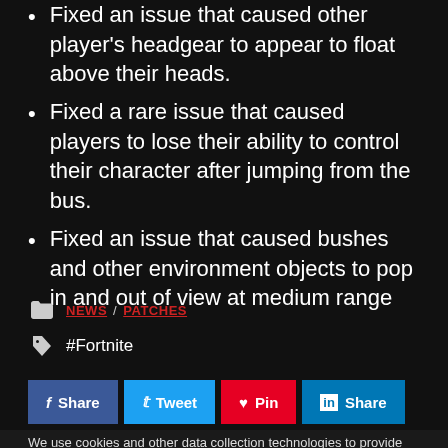Fixed an issue that caused other player's headgear to appear to float above their heads.
Fixed a rare issue that caused players to lose their ability to control their character after jumping from the bus.
Fixed an issue that caused bushes and other environment objects to pop in and out of view at medium range
NEWS / PATCHES
#Fortnite
Share  Tweet  Pin  Share
We use cookies and other data collection technologies to provide the best experience for our customers. You may request that